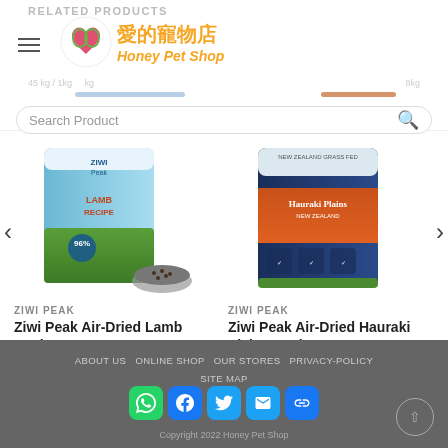RELATED PRODUCTS
愛的寵物店 Honey Pet Shop
Search Product
[Figure (photo): Ziwi Peak Air-Dried Lamb Recipe For Dog product package with a bowl of kibble]
ZIWI PEAK
Ziwi Peak Air-Dried Lamb Recipe For Dog
$360.00 – $1,825.00
[Figure (photo): Ziwi Peak Air-Dried Hauraki Plains Recipe For Dog product package]
ZIWI PEAK
Ziwi Peak Air-Dried Hauraki Plains Recipe For Dog
$125.00 – $1,035.00
ABOUT US   ONLINE SHOP   OUR STORES   PRIVACY-POLICY   SITE MAP
Copyright 2022 Honey Pet Shop